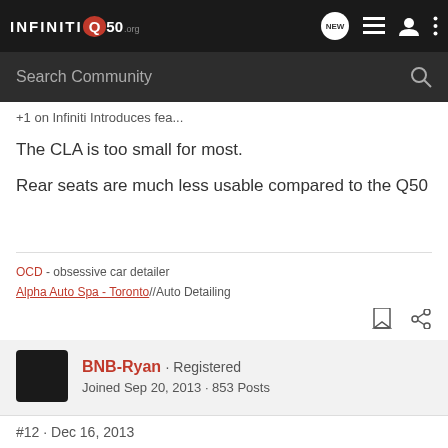INFINITI Q50 .org [header navigation bar with NEW, list, user, menu icons]
Search Community
+1 on Infiniti Introduces fea...
The CLA is too small for most.
Rear seats are much less usable compared to the Q50
OCD - obsessive car detailer
Alpha Auto Spa - Toronto//Auto Detailing
BNB-Ryan · Registered
Joined Sep 20, 2013 · 853 Posts
#12 · Dec 16, 2013